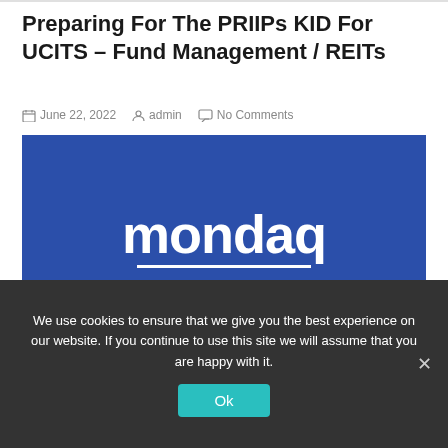Preparing For The PRIIPs KID For UCITS – Fund Management / REITs
June 22, 2022  admin  No Comments
[Figure (logo): Mondaq logo — white bold text 'mondaq' with a white underline on a blue background]
We use cookies to ensure that we give you the best experience on our website. If you continue to use this site we will assume that you are happy with it.